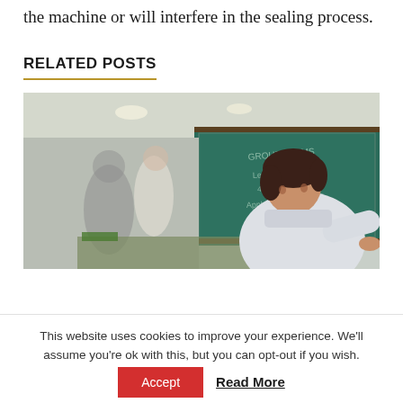the machine or will interfere in the sealing process.
RELATED POSTS
[Figure (photo): A young woman in a white coat writing or working at a desk in what appears to be a classroom or laboratory setting, with a chalkboard visible in the background and blurred figures behind her.]
This website uses cookies to improve your experience. We'll assume you're ok with this, but you can opt-out if you wish.
Accept   Read More